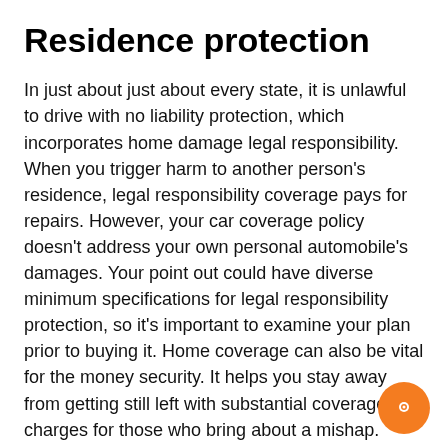Residence protection
In just about just about every state, it is unlawful to drive with no liability protection, which incorporates home damage legal responsibility. When you trigger harm to another person’s residence, legal responsibility coverage pays for repairs. However, your car coverage policy doesn’t address your own personal automobile’s damages. Your point out could have diverse minimum specifications for legal responsibility protection, so it’s important to examine your plan prior to buying it. Home coverage can also be vital for the money security. It helps you stay away from getting still left with substantial coverage charges for those who bring about a mishap.
Your coverage coverage have to have some sort of home injury protection to compensate you from the party of a collision. This coverage pays for almost any damages you induce to a different individual’s auto, including repairs